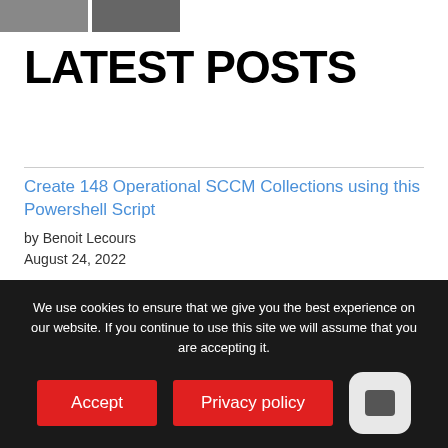[Figure (photo): Two partial photo thumbnails at top left]
LATEST POSTS
Create 148 Operational SCCM Collections using this Powershell Script
by Benoit Lecours
August 24, 2022
Identify Windows 10 and Windows 11 Build Numbers using SCCM / MEMCM
We use cookies to ensure that we give you the best experience on our website. If you continue to use this site we will assume that you are accepting it.